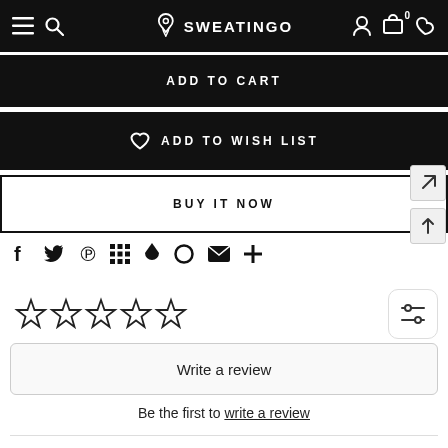SWEATINGO
ADD TO CART
ADD TO WISH LIST
BUY IT NOW
[Figure (other): Social share icons: Facebook, Twitter, Pinterest, Grid, Profile, Circle, Email, Plus]
[Figure (other): Five empty star rating icons]
Write a review
Be the first to write a review